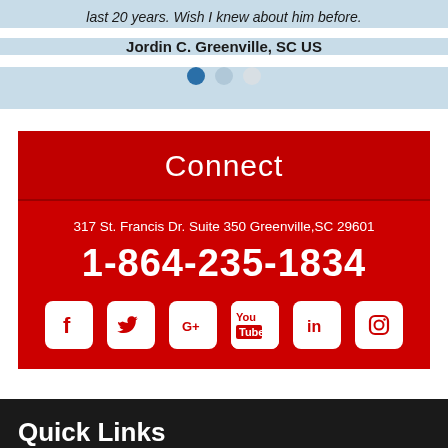last 20 years. Wish I knew about him before.
Jordin C. Greenville, SC US
Connect
317 St. Francis Dr. Suite 350 Greenville,SC 29601
1-864-235-1834
[Figure (infographic): Social media icons: Facebook, Twitter, Google+, YouTube, LinkedIn, Instagram]
Quick Links